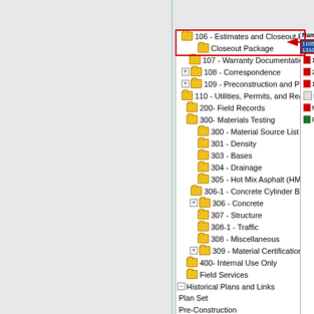[Figure (screenshot): Windows file browser/tree view showing a document management system with folder hierarchy. Left side shows a tree of folders including items like '106 - Estimates and Closeout Package', 'Closeout Package' (highlighted with red box), '107 - Warranty Documentation', '108 - Correspondence', '109 - Preconstruction and Progress Mee', '110 - Utilities, Permits, and Real Estate', '200- Field Records', '300- Materials Testing' with subfolders (300-309), '400- Internal Use Only', 'Field Services', 'Historical Plans and Links', 'Plan Set', 'Pre-Construction', 'Project Accounting', 'Saved Searches', and numbered items 203, 251, 369, 513 (e-LAP), 562, 563, 571, 572. Right panel shows 'Name' column header with items: 1105 131073 (selected/highlighted blue), 1120 131073A.p, 2124AStateme, 131073 Compl, DO NOT CHA, MDOT Form 1, Pink Slip Econ. Red border highlights the '106 - Estimates and Closeout Package' and 'Closeout Package' rows with a red arrow pointing right to the selected item.]